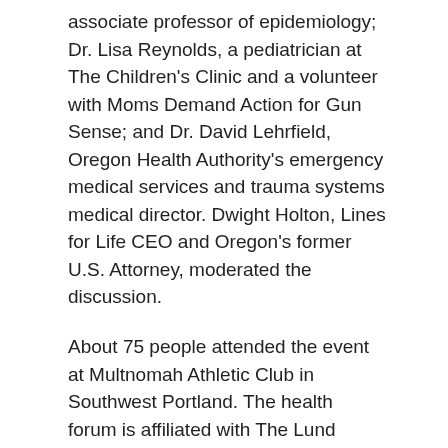associate professor of epidemiology; Dr. Lisa Reynolds, a pediatrician at The Children's Clinic and a volunteer with Moms Demand Action for Gun Sense; and Dr. David Lehrfield, Oregon Health Authority's emergency medical services and trauma systems medical director. Dwight Holton, Lines for Life CEO and Oregon's former U.S. Attorney, moderated the discussion.
About 75 people attended the event at Multnomah Athletic Club in Southwest Portland. The health forum is affiliated with The Lund Report, also a nonprofit.
“This is a tremendous health problem, just like any health problem,” Schreiber said. “If you had a measles outbreak you would vaccinate people and take care of it. If you had a pneumonia outbreak, you would deal with a pneumonia outbreak.